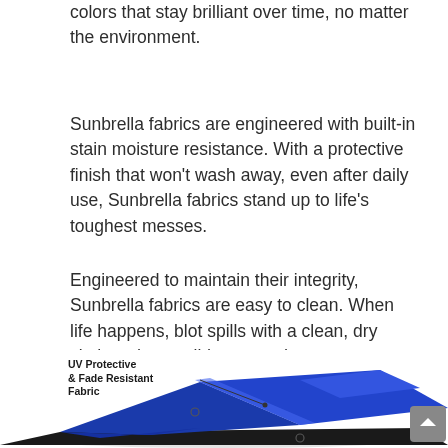colors that stay brilliant over time, no matter the environment.
Sunbrella fabrics are engineered with built-in stain moisture resistance. With a protective finish that won't wash away, even after daily use, Sunbrella fabrics stand up to life's toughest messes.
Engineered to maintain their integrity, Sunbrella fabrics are easy to clean. When life happens, blot spills with a clean, dry cloth and use mild soap and warm water to remove them.
[Figure (illustration): 3D illustration of blue UV protective and fade resistant fabric layers folded/draped, with a label pointing to the fabric reading 'UV Protective & Fade Resistant Fabric']